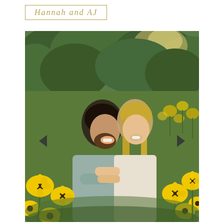Hannah and AJ
[Figure (photo): An engaged couple smiling together in a field of bright yellow black-eyed Susan flowers with lush green trees in the background. The man on the left has dark curly hair and a beard, wearing a light blue/grey t-shirt with arms crossed. The woman on the right has long blonde hair wearing a light/cream dress, hugging the man from behind. Left and right navigation arrows are visible on the sides of the photo.]